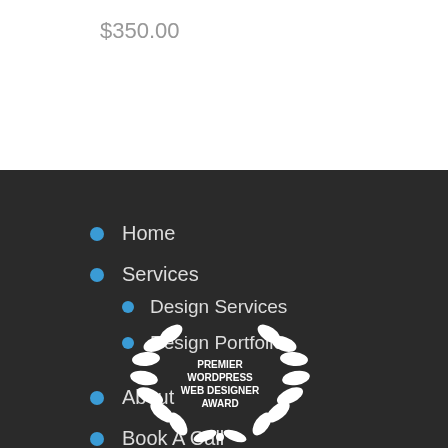$350.00
Home
Services
Design Services
Design Portfolio
About
Book A Call
[Figure (logo): Premier WordPress Web Designer Award badge — white laurel wreath with text inside on dark background]